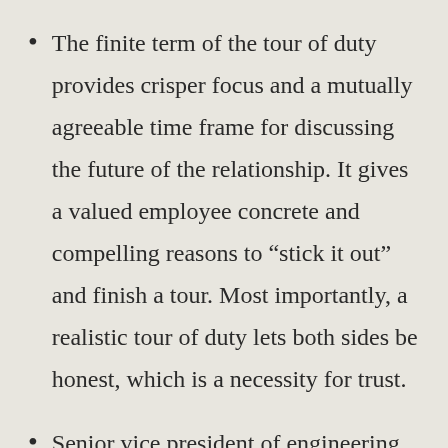The finite term of the tour of duty provides crisper focus and a mutually agreeable time frame for discussing the future of the relationship. It gives a valued employee concrete and compelling reasons to “stick it out” and finish a tour. Most importantly, a realistic tour of duty lets both sides be honest, which is a necessity for trust.
Senior vice president of engineering Kevin Scott, models the importance of honesty even more explicitly. He asks every person